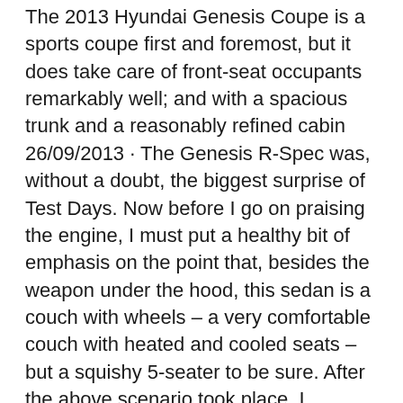The 2013 Hyundai Genesis Coupe is a sports coupe first and foremost, but it does take care of front-seat occupants remarkably well; and with a spacious trunk and a reasonably refined cabin 26/09/2013 · The Genesis R-Spec was, without a doubt, the biggest surprise of Test Days. Now before I go on praising the engine, I must put a healthy bit of emphasis on the point that, besides the weapon under the hood, this sedan is a couch with wheels – a very comfortable couch with heated and cooled seats – but a squishy 5-seater to be sure. After the above scenario took place, I foolishly assumed
Immersed with the use of high-grade materials, the 2013 Hyundai Genesis R-Spec's cabin employs the same high devotion to fit and finish